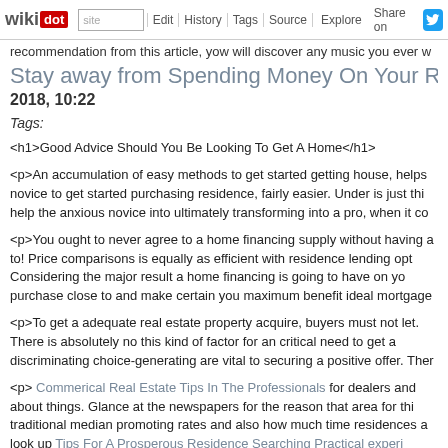wikidot | Edit | History | Tags | Source | Explore | Share on [Twitter]
recommendation from this article, yow will discover any music you ever w
Stay away from Spending Money On Your Real E
2018, 10:22
Tags:
<h1>Good Advice Should You Be Looking To Get A Home</h1>
<p>An accumulation of easy methods to get started getting house, helps novice to get started purchasing residence, fairly easier. Under is just thi help the anxious novice into ultimately transforming into a pro, when it co
<p>You ought to never agree to a home financing supply without having a to! Price comparisons is equally as efficient with residence lending opt Considering the major result a home financing is going to have on yo purchase close to and make certain you maximum benefit ideal mortgage
<p>To get a adequate real estate property acquire, buyers must not let. There is absolutely no this kind of factor for an critical need to get a discriminating choice-generating are vital to securing a positive offer. Ther
<p> Commerical Real Estate Tips In The Professionals for dealers and about things. Glance at the newspapers for the reason that area for thi traditional median promoting rates and also how much time residences a look up Tips For A Prosperous Residence Searching Practical experi offense costs for the region.</p>
<p>Make sure that the offer you make in your ideal real estate is alurin